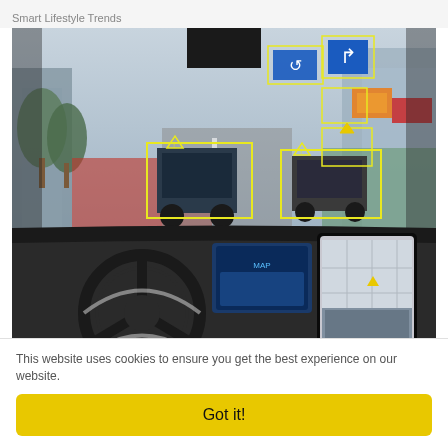Smart Lifestyle Trends
[Figure (photo): View from inside an autonomous car dashboard showing a city street with AI object detection bounding boxes highlighting vehicles, pedestrians, and road signs. The dashboard shows a large center touchscreen with map and camera feed, and a steering wheel on the left.]
Virginia Launches New Policy for Cars Used Less Than
This website uses cookies to ensure you get the best experience on our website.
Got it!